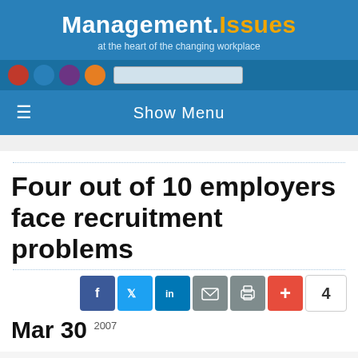Management.Issues — at the heart of the changing workplace
Four out of 10 employers face recruitment problems
Mar 30 2007